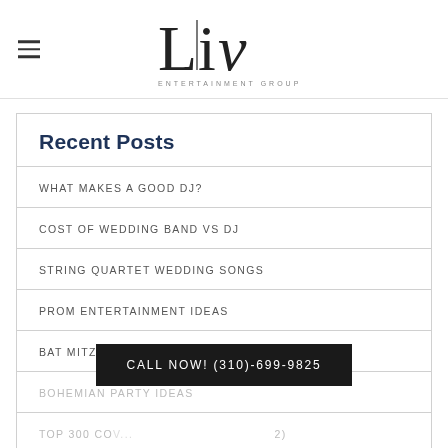Liv Entertainment Group, Inc.
Recent Posts
WHAT MAKES A GOOD DJ?
COST OF WEDDING BAND VS DJ
STRING QUARTET WEDDING SONGS
PROM ENTERTAINMENT IDEAS
BAT MITZVAH ENTERTAINMENT IDEAS
BOHEMIAN PARTY IDEAS
TOP 300 COV... (2)
WHY DO BANDS PLAY FASTER LIVE?
CALL NOW! (310)-699-9825